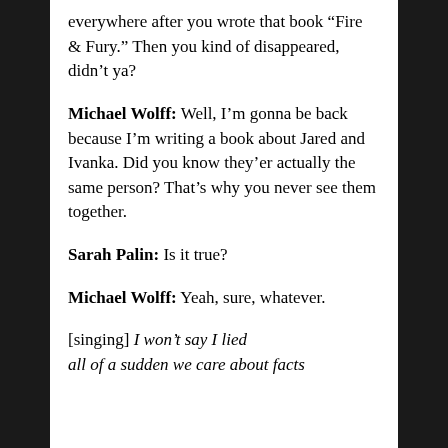everywhere after you wrote that book “Fire & Fury.” Then you kind of disappeared, didn’t ya?
Michael Wolff: Well, I’m gonna be back because I’m writing a book about Jared and Ivanka. Did you know they’er actually the same person? That’s why you never see them together.
Sarah Palin: Is it true?
Michael Wolff: Yeah, sure, whatever.
[singing] I won’t say I lied
all of a sudden we care about facts